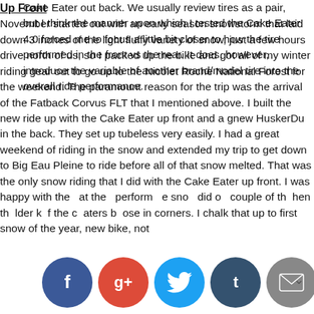Cake Eater out back. We usually review tires as a pair, but I think the manner upon which I tested the Cake Eater 4.0 forced me to focus a little bit closer to how the tire performed in the front vs the rear. It does, however, introduce the variable of another brand/model tire into the overall ride performance.
Up Front
November started out with an early season snowstorm that laid down 3 inches of the light fluffy variety of snow, just a few hours drive north of us, so I packed up the bike and got all of my winter riding gear out to go up to the Nicolet Roche National Forest for the weekend. The paramount reason for the trip was the arrival of the Fatback Corvus FLT that I mentioned above. I built the new ride up with the Cake Eater up front and a gnew HuskerDu in the back. They set up tubeless very easily. I had a great weekend of riding in the snow and extended my trip to get down to Big Eau Pleine to ride before all of that snow melted. That was the only snow riding that I did with the Cake Eater up front. I was happy with the at the perform e sno did o couple of th hen th lder k f the c aters b ose in corners. I chalk that up to first snow of the year, new bike, not